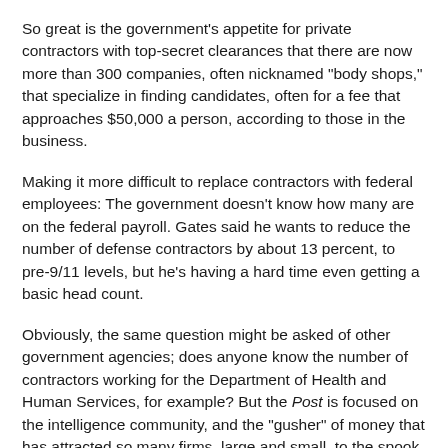So great is the government's appetite for private contractors with top-secret clearances that there are now more than 300 companies, often nicknamed "body shops," that specialize in finding candidates, often for a fee that approaches $50,000 a person, according to those in the business.
Making it more difficult to replace contractors with federal employees: The government doesn't know how many are on the federal payroll. Gates said he wants to reduce the number of defense contractors by about 13 percent, to pre-9/11 levels, but he's having a hard time even getting a basic head count.
Obviously, the same question might be asked of other government agencies; does anyone know the number of contractors working for the Department of Health and Human Services, for example? But the Post is focused on the intelligence community, and the "gusher" of money that has attracted so many firms, large and small, to the spook world in recent years.
If you accept the paper's thesis, there are way too many contractors, often duplicating work performed by federal